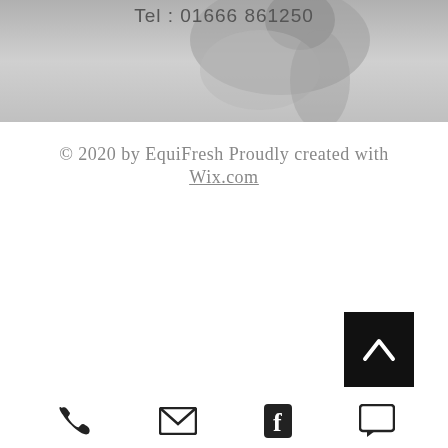[Figure (photo): Black and white photo of a horse with a telephone number overlay 'Tel : 01666 861250']
© 2020 by EquiFresh Proudly created with Wix.com
[Figure (other): Black square back-to-top button with white chevron/caret arrow pointing upward]
[Figure (other): Bottom navigation bar with phone icon, email icon, Facebook icon, and chat/comment icon]